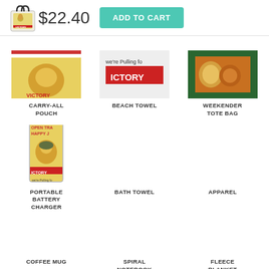[Figure (screenshot): Product page header with tote bag thumbnail, price $22.40, and Add to Cart button]
[Figure (photo): Carry-All Pouch product thumbnail (partially cropped patriotic WWII artwork)]
CARRY-ALL POUCH
[Figure (photo): Beach Towel product thumbnail (partially cropped WWII Victory artwork)]
BEACH TOWEL
[Figure (photo): Weekender Tote Bag product thumbnail (partially cropped artwork with food/pastry imagery)]
WEEKENDER TOTE BAG
[Figure (photo): Portable Battery Charger product showing WWII Victory artwork wrapped around device]
PORTABLE BATTERY CHARGER
BATH TOWEL
APPAREL
COFFEE MUG
SPIRAL NOTEBOOK
FLEECE BLANKET